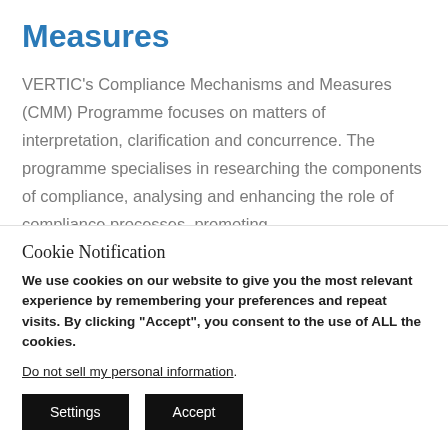Measures
VERTIC's Compliance Mechanisms and Measures (CMM) Programme focuses on matters of interpretation, clarification and concurrence. The programme specialises in researching the components of compliance, analysing and enhancing the role of compliance processes, promoting
Cookie Notification
We use cookies on our website to give you the most relevant experience by remembering your preferences and repeat visits. By clicking “Accept”, you consent to the use of ALL the cookies.
Do not sell my personal information.